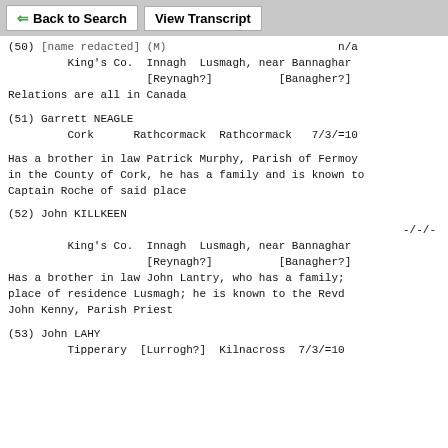Back to Search | View Transcript
(50) [name redacted] (M)  n/a
         King's Co.  Innagh  Lusmagh, near Bannaghar
                     [Reynagh?]          [Banagher?]
Relations are all in Canada
(51) Garrett NEAGLE
         Cork      Rathcormack  Rathcormack   7/3/=10
Has a brother in law Patrick Murphy, Parish of Fermoy
in the County of Cork, he has a family and is known to
Captain Roche of said place
(52) John KILLKEEN
                                    -/-/-
         King's Co.  Innagh  Lusmagh, near Bannaghar
                     [Reynagh?]          [Banagher?]
Has a brother in law John Lantry, who has a family;
place of residence Lusmagh; he is known to the Revd
John Kenny, Parish Priest
(53) John LAHY
         Tipperary  [Lurrogh?]  Kilnacross  7/3/=10